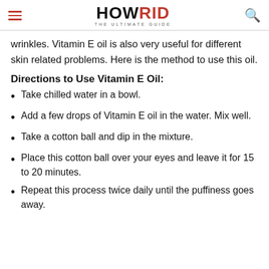HOWRID THE ULTIMATE GUIDE
wrinkles. Vitamin E oil is also very useful for different skin related problems. Here is the method to use this oil.
Directions to Use Vitamin E Oil:
Take chilled water in a bowl.
Add a few drops of Vitamin E oil in the water. Mix well.
Take a cotton ball and dip in the mixture.
Place this cotton ball over your eyes and leave it for 15 to 20 minutes.
Repeat this process twice daily until the puffiness goes away.